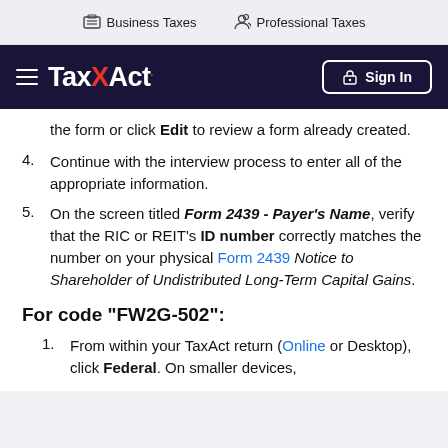Business Taxes   Professional Taxes
[Figure (logo): TaxAct logo with hamburger menu and Sign In button on dark navy background]
the form or click Edit to review a form already created.
4. Continue with the interview process to enter all of the appropriate information.
5. On the screen titled Form 2439 - Payer's Name, verify that the RIC or REIT's ID number correctly matches the number on your physical Form 2439 Notice to Shareholder of Undistributed Long-Term Capital Gains.
For code "FW2G-502":
1. From within your TaxAct return (Online or Desktop), click Federal. On smaller devices,